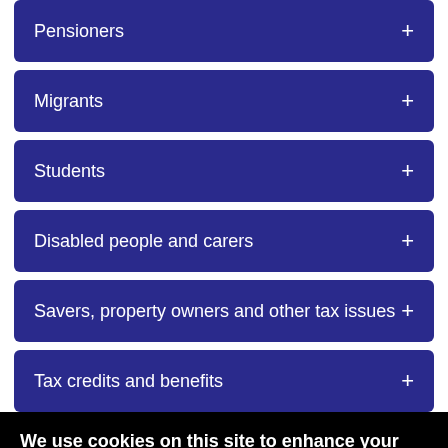Pensioners +
Migrants +
Students +
Disabled people and carers +
Savers, property owners and other tax issues +
Tax credits and benefits +
We use cookies on this site to enhance your user experience
By clicking any link on this page you are giving your consent for us to set cookies.
OK, I agree
No, give me more info